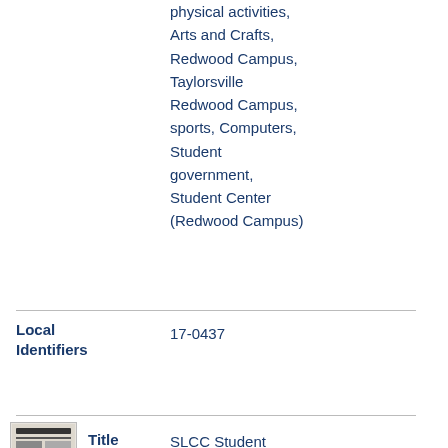physical activities, Arts and Crafts, Redwood Campus, Taylorsville Redwood Campus, sports, Computers, Student government, Student Center (Redwood Campus)
| Field | Value |
| --- | --- |
| Local Identifiers | 17-0437 |
| Title | SLCC Student Newspapers 1990-11-07 |